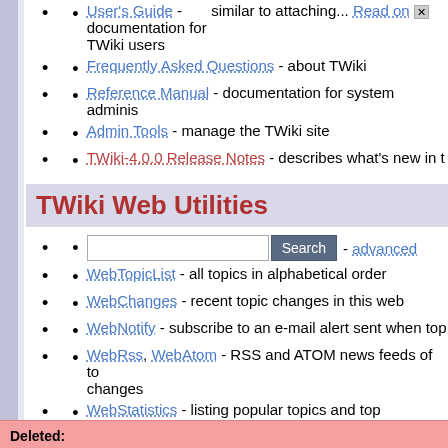User's Guide - documentation for TWiki users - similar to attaching... Read on
Frequently Asked Questions - about TWiki
Reference Manual - documentation for system adminis...
Admin Tools - manage the TWiki site
TWiki-4.0.0 Release Notes - describes what's new in t...
TWiki Web Utilities
Search - advanced
WebTopicList - all topics in alphabetical order
WebChanges - recent topic changes in this web
WebNotify - subscribe to an e-mail alert sent when to...
WebRss, WebAtom - RSS and ATOM news feeds of to... changes
WebStatistics - listing popular topics and top contributo...
WebPreferences - preferences of this web
Deleted: